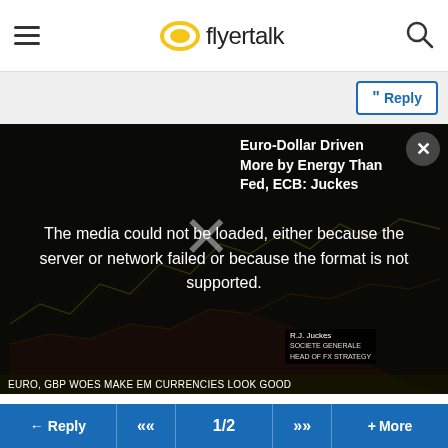flyertalk
Reply
[Figure (screenshot): Embedded media player showing a financial news video about Euro-Dollar, with error message: 'The media could not be loaded, either because the server or network failed or because the format is not supported.' Video thumbnail shows a financial chart. Ticker at bottom reads: EURO, GBP WOES MAKE EM CURRENCIES LOOK GOOD. Side title: Euro-Dollar Driven More by Energy Than Fed, ECB: Juckes]
Don't fall into that trap! I use to buy this insurance, (and I've asked about this on several threads here in the past). Upon checkout at DL.com, the premium for the trip is cheaper that if you protect retroactively. However, if you buy direct from Allianz, it would end up being cheaper and more cost effective.

Case in point, for a D1 ticket, the price upon checkout at DL would be thereabouts of 275+. If you buy retroactively
Reply  <<  1/2  >>  + More